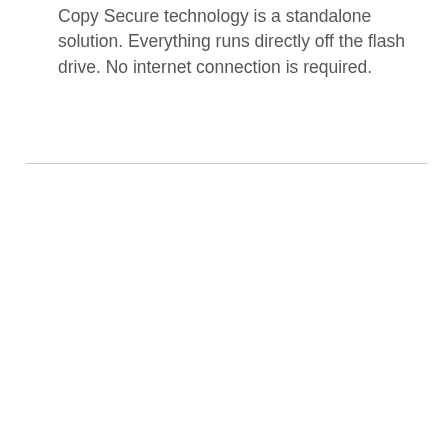Copy Secure technology is a standalone solution. Everything runs directly off the flash drive. No internet connection is required.